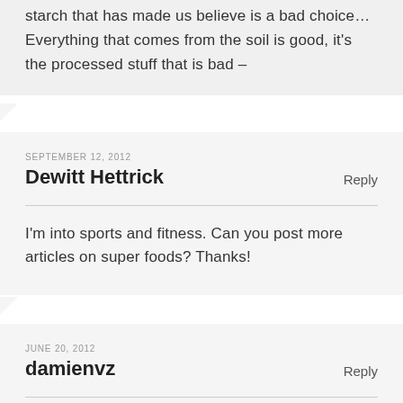starch that has made us believe is a bad choice… Everything that comes from the soil is good, it's the processed stuff that is bad –
SEPTEMBER 12, 2012
Reply
Dewitt Hettrick
I'm into sports and fitness. Can you post more articles on super foods? Thanks!
JUNE 20, 2012
Reply
damienvz
Findings indicate that Himalayan salts help to remedy acne too